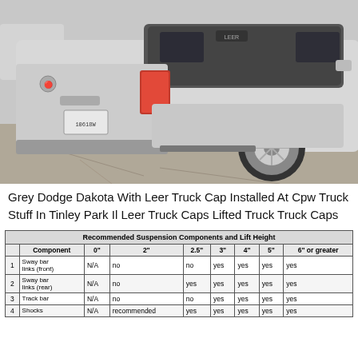[Figure (photo): Rear view of a silver/grey Dodge Dakota pickup truck with a Leer truck cap installed, photographed in a parking lot.]
Grey Dodge Dakota With Leer Truck Cap Installed At Cpw Truck Stuff In Tinley Park Il Leer Truck Caps Lifted Truck Truck Caps
| Recommended Suspension Components and Lift Height |  |  |  |  |  |  |  |
| --- | --- | --- | --- | --- | --- | --- | --- |
| Component | 0" | 2" | 2.5" | 3" | 4" | 5" | 6" or greater |
| 1 | Sway bar links (front) | N/A | no | no | yes | yes | yes | yes |
| 2 | Sway bar links (rear) | N/A | no | yes | yes | yes | yes | yes |
| 3 | Track bar | N/A | no | no | yes | yes | yes | yes |
| 4 | Shocks | N/A | recommended | yes | yes | yes | yes | yes |